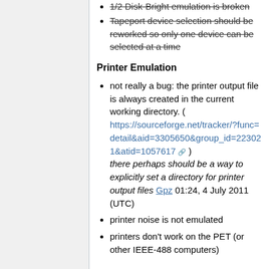1/2 Disk-Bright emulation is broken (strikethrough)
Tapeport device selection should be reworked so only one device can be selected at a time (strikethrough)
Printer Emulation
not really a bug: the printer output file is always created in the current working directory. ( https://sourceforge.net/tracker/?func=detail&aid=3305650&group_id=223021&atid=1057617 ) there perhaps should be a way to explicitly set a directory for printer output files Gpz 01:24, 4 July 2011 (UTC)
printer noise is not emulated
printers don't work on the PET (or other IEEE-488 computers)